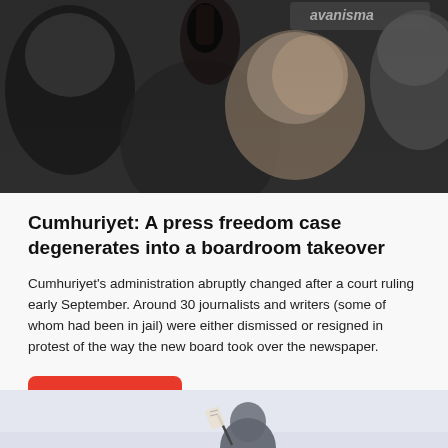[Figure (photo): Crowd of people at a protest or demonstration, with a hand raised, faces visible; text 'avanisma' partially visible in background signage]
Cumhuriyet: A press freedom case degenerates into a boardroom takeover
Cumhuriyet's administration abruptly changed after a court ruling early September. Around 30 journalists and writers (some of whom had been in jail) were either dismissed or resigned in protest of the way the new board took over the newspaper.
Read more
[Figure (photo): Bottom partial image showing a figure holding a flag or sign, light blue-gray background]